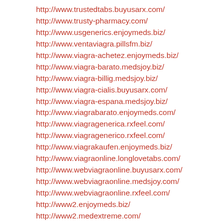http://www.trustedtabs.buyusarx.com/
http://www.trusty-pharmacy.com/
http://www.usgenerics.enjoymeds.biz/
http://www.ventaviagra.pillsfm.biz/
http://www.viagra-achetez.enjoymeds.biz/
http://www.viagra-barato.medsjoy.biz/
http://www.viagra-billig.medsjoy.biz/
http://www.viagra-cialis.buyusarx.com/
http://www.viagra-espana.medsjoy.biz/
http://www.viagrabarato.enjoymeds.com/
http://www.viagragenerica.rxfeel.com/
http://www.viagragenerico.rxfeel.com/
http://www.viagrakaufen.enjoymeds.biz/
http://www.viagraonline.longlovetabs.com/
http://www.webviagraonline.buyusarx.com/
http://www.webviagraonline.medsjoy.com/
http://www.webviagraonline.rxfeel.com/
http://www2.enjoymeds.biz/
http://www2.medextreme.com/